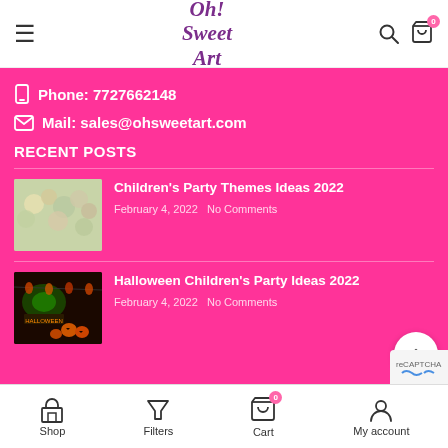Oh! Sweet Art — navigation header with hamburger menu, logo, search and cart icons
📱 Phone: 7727662148
✉ Mail: sales@ohsweetart.com
RECENT POSTS
Children's Party Themes Ideas 2022 — February 4, 2022  No Comments
Halloween Children's Party Ideas 2022 — February 4, 2022  No Comments
Shop  Filters  Cart  My account